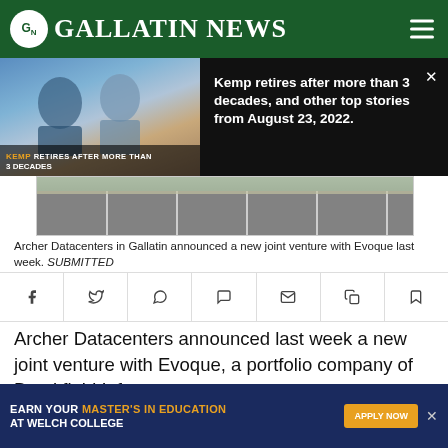GN Gallatin News
[Figure (screenshot): Video popup overlay showing news headline: Kemp retires after more than 3 decades, and other top stories from August 23, 2022. Left side shows a thumbnail image of people seated, with text overlay: KEMP RETIRES AFTER MORE THAN 3 DECADES.]
[Figure (photo): Parking lot with white painted parking space lines on asphalt, with grass and curb visible in background.]
Archer Datacenters in Gallatin announced a new joint venture with Evoque last week. SUBMITTED
Archer Datacenters announced last week a new joint venture with Evoque, a portfolio company of Brookfield Infrast…
[Figure (infographic): Advertisement banner: EARN YOUR MASTER'S IN EDUCATION AT WELCH COLLEGE with APPLY NOW button.]